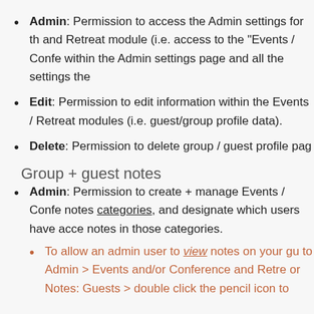Admin: Permission to access the Admin settings for the and Retreat module (i.e. access to the "Events / Confe within the Admin settings page and all the settings the
Edit: Permission to edit information within the Events / Retreat modules (i.e. guest/group profile data).
Delete: Permission to delete group / guest profile pag
Group + guest notes
Admin: Permission to create + manage Events / Confe notes categories, and designate which users have acce notes in those categories.
To allow an admin user to view notes on your gu to Admin > Events and/or Conference and Retre or Notes: Guests > double click the pencil icon to